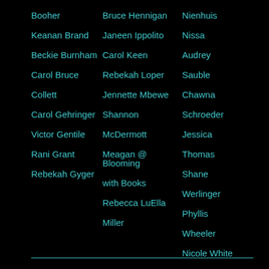Booher
Keanan Brand
Beckie Burnham
Carol Bruce
Collett
Carol Gehringer
Victor Gentile
Rani Grant
Rebekah Gyger
Bruce Hennigan
Janeen Ippolito
Carol Keen
Rebekah Loper
Jennette Mbewe
Shannon
McDermott
Meagan @ Blooming
with Books
Rebecca LuElla
Miller
Nienhuis
Nissa
Audrey
Sauble
Chawna
Schroeder
Jessica
Thomas
Shane
Werlinger
Phyllis
Wheeler
Nicole White